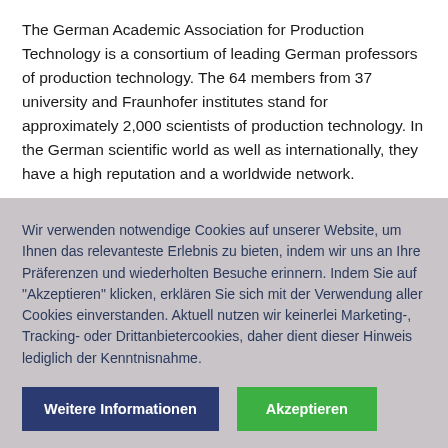The German Academic Association for Production Technology is a consortium of leading German professors of production technology. The 64 members from 37 university and Fraunhofer institutes stand for approximately 2,000 scientists of production technology. In the German scientific world as well as internationally, they have a high reputation and a worldwide network.
Wir verwenden notwendige Cookies auf unserer Website, um Ihnen das relevanteste Erlebnis zu bieten, indem wir uns an Ihre Präferenzen und wiederholten Besuche erinnern. Indem Sie auf "Akzeptieren" klicken, erklären Sie sich mit der Verwendung aller Cookies einverstanden. Aktuell nutzen wir keinerlei Marketing-, Tracking- oder Drittanbietercookies, daher dient dieser Hinweis lediglich der Kenntnisnahme.
Weitere Informationen
Akzeptieren